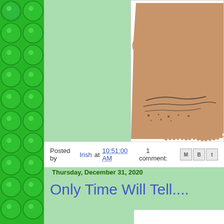[Figure (illustration): Green glossy bubble/circle pattern forming a decorative left border strip]
[Figure (photo): Torn piece of paper/cardstock with beige/tan color and handwritten scribble marks, displayed against white background]
Posted by Irish at 10:51:00 AM    1 comment:
Thursday, December 31, 2020
Only Time Will Tell....